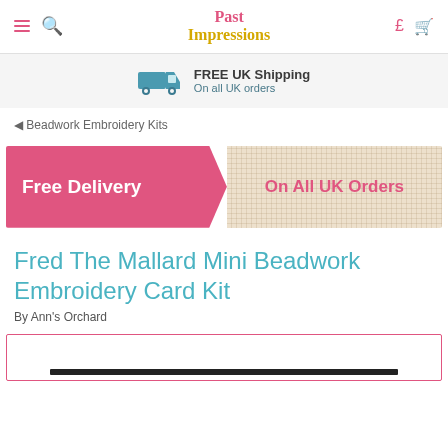Past Impressions — navigation bar with menu, search, currency (£) and cart icons
[Figure (infographic): FREE UK Shipping banner with truck icon. Text: FREE UK Shipping / On all UK orders]
◄ Beadwork Embroidery Kits
[Figure (infographic): Promotional banner split: left pink section reads 'Free Delivery', right fabric-texture section reads 'On All UK Orders']
Fred The Mallard Mini Beadwork Embroidery Card Kit
By Ann's Orchard